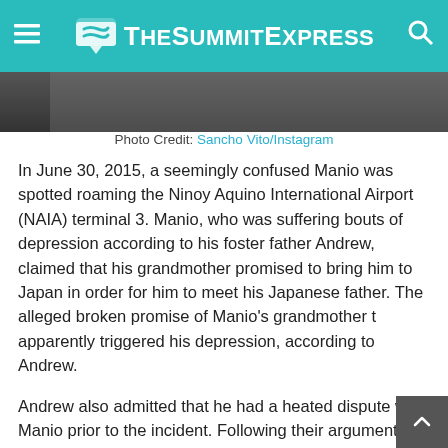TheSummitExpress
[Figure (photo): Partial photo strip showing a person, cropped at top of the article]
Photo Credit: Sancho Vito/Instagram
In June 30, 2015, a seemingly confused Manio was spotted roaming the Ninoy Aquino International Airport (NAIA) terminal 3. Manio, who was suffering bouts of depression according to his foster father Andrew, claimed that his grandmother promised to bring him to Japan in order for him to meet his Japanese father. The alleged broken promise of Manio's grandmother t apparently triggered his depression, according to Andrew.
Andrew also admitted that he had a heated dispute with Manio prior to the incident. Following their argument, Manio left their house and was next seen at the NAIA terminal 3.